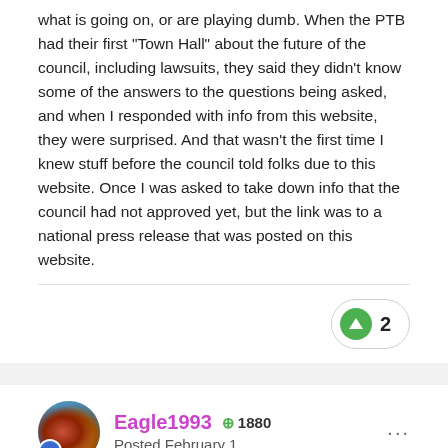what is going on, or are playing dumb. When the PTB had their first "Town Hall" about the future of the council, including lawsuits, they said they didn't know some of the answers to the questions being asked, and when I responded with info from this website, they were surprised. And that wasn't the first time I knew stuff before the council told folks due to this website. Once I was asked to take down info that the council had not approved yet, but the link was to a national press release that was posted on this website.
Eagle1993 +1880 Posted February 1
To be fair, I think only 1 person really has a good understanding of what is about to happen ... and she does not work for the BSA.